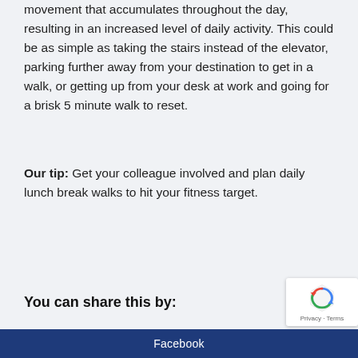movement that accumulates throughout the day, resulting in an increased level of daily activity. This could be as simple as taking the stairs instead of the elevator, parking further away from your destination to get in a walk, or getting up from your desk at work and going for a brisk 5 minute walk to reset.
Our tip: Get your colleague involved and plan daily lunch break walks to hit your fitness target.
You can share this by:
Facebook